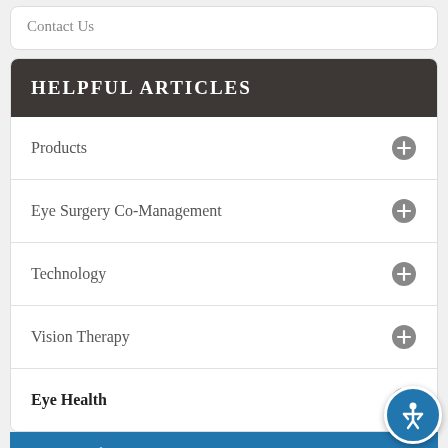Contact Us
HELPFUL ARTICLES
Products
Eye Surgery Co-Management
Technology
Vision Therapy
Eye Health
Importance Of Routine Eye E...